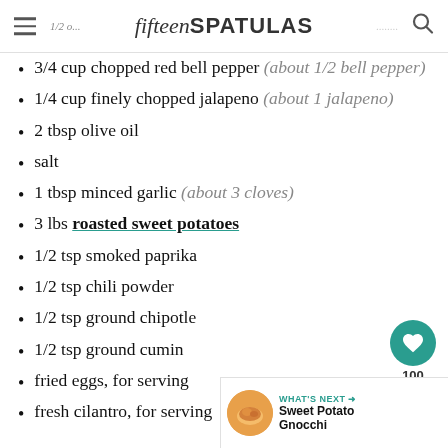fifteen SPATULAS
3/4 cup chopped red bell pepper (about 1/2 bell pepper)
1/4 cup finely chopped jalapeno (about 1 jalapeno)
2 tbsp olive oil
salt
1 tbsp minced garlic (about 3 cloves)
3 lbs roasted sweet potatoes
1/2 tsp smoked paprika
1/2 tsp chili powder
1/2 tsp ground chipotle
1/2 tsp ground cumin
fried eggs, for serving
fresh cilantro, for serving